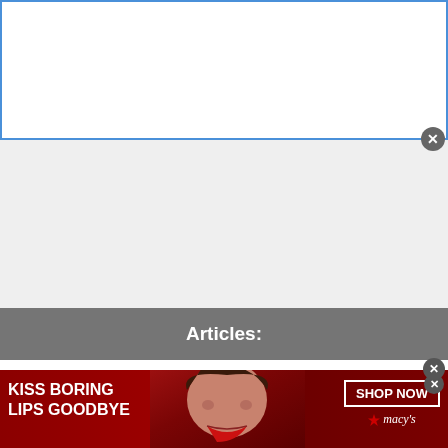[Figure (screenshot): White banner ad area at top with blue border and gray close button]
[Figure (screenshot): Gray empty content area in middle of page]
Articles:
Spell Check in Excel
[Figure (photo): Bottom advertisement banner: KISS BORING LIPS GOODBYE with woman's face and SHOP NOW / macys branding on red background]